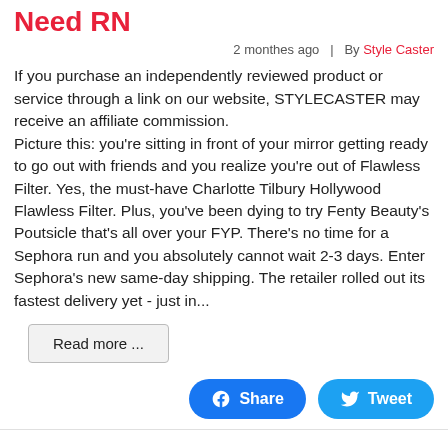Need RN
2 monthes ago  |  By Style Caster
If you purchase an independently reviewed product or service through a link on our website, STYLECASTER may receive an affiliate commission.
Picture this: you're sitting in front of your mirror getting ready to go out with friends and you realize you're out of Flawless Filter. Yes, the must-have Charlotte Tilbury Hollywood Flawless Filter. Plus, you've been dying to try Fenty Beauty's Poutsicle that's all over your FYP. There's no time for a Sephora run and you absolutely cannot wait 2-3 days. Enter Sephora's new same-day shipping. The retailer rolled out its fastest delivery yet - just in...
Read more ...
Share
Tweet
TikTokers Predict This $16 Maxi Dress Will Become The It Dress of The Summer